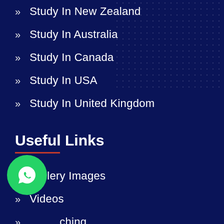» Study In New Zealand
» Study In Australia
» Study In Canada
» Study In USA
» Study In United Kingdom
Useful Links
» Gallery Images
» Videos
» [ching (partially obscured)
» Blog List
[Figure (illustration): WhatsApp floating button icon, green circle with white WhatsApp logo]